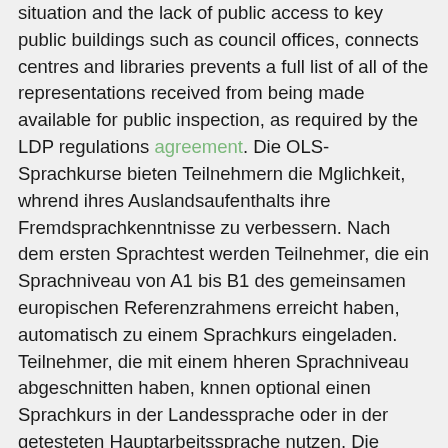situation and the lack of public access to key public buildings such as council offices, connects centres and libraries prevents a full list of all of the representations received from being made available for public inspection, as required by the LDP regulations agreement. Die OLS-Sprachkurse bieten Teilnehmern die Mglichkeit, whrend ihres Auslandsaufenthalts ihre Fremdsprachkenntnisse zu verbessern. Nach dem ersten Sprachtest werden Teilnehmer, die ein Sprachniveau von A1 bis B1 des gemeinsamen europischen Referenzrahmens erreicht haben, automatisch zu einem Sprachkurs eingeladen. Teilnehmer, die mit einem hheren Sprachniveau abgeschnitten haben, knnen optional einen Sprachkurs in der Landessprache oder in der getesteten Hauptarbeitssprache nutzen. Die systematische, europaweit flchendeckende berprfung der Entwicklung der individuellen Sprachkompetenz ermglicht eine Evaluierung der Wirksamkeit von Erasmus+. Zwischen Partnerhochschulen/-einrichtungen in inter-institutional agreement (IIA)